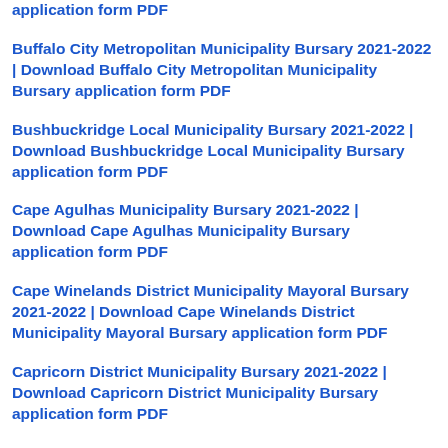application form PDF
Buffalo City Metropolitan Municipality Bursary 2021-2022 | Download Buffalo City Metropolitan Municipality Bursary application form PDF
Bushbuckridge Local Municipality Bursary 2021-2022 | Download Bushbuckridge Local Municipality Bursary application form PDF
Cape Agulhas Municipality Bursary 2021-2022 | Download Cape Agulhas Municipality Bursary application form PDF
Cape Winelands District Municipality Mayoral Bursary 2021-2022 | Download Cape Winelands District Municipality Mayoral Bursary application form PDF
Capricorn District Municipality Bursary 2021-2022 | Download Capricorn District Municipality Bursary application form PDF